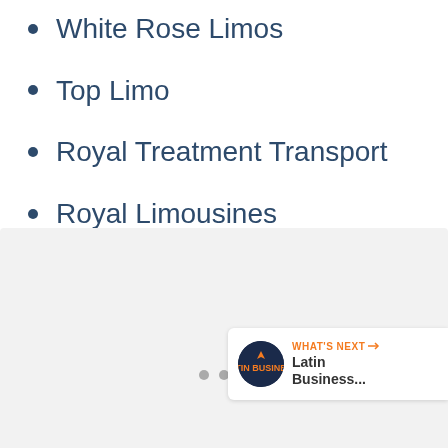White Rose Limos
Top Limo
Royal Treatment Transport
Royal Limousines
[Figure (screenshot): Bottom UI overlay with gray background, social interaction buttons (like heart button, share button), count of 6, navigation dots, and a 'What's Next' panel showing Latin Business... thumbnail]